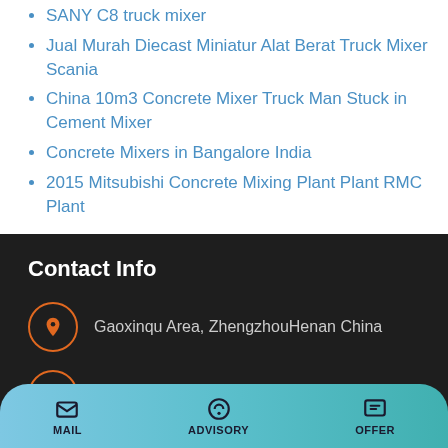SANY C8 truck mixer
Jual Murah Diecast Miniatur Alat Berat Truck Mixer Scania
China 10m3 Concrete Mixer Truck Man Stuck in Cement Mixer
Concrete Mixers in Bangalore India
2015 Mitsubishi Concrete Mixing Plant Plant RMC Plant
Contact Info
Gaoxinqu Area, ZhengzhouHenan China
sales@talenets.com
0086-371-60922096
MAIL   ADVISORY   OFFER